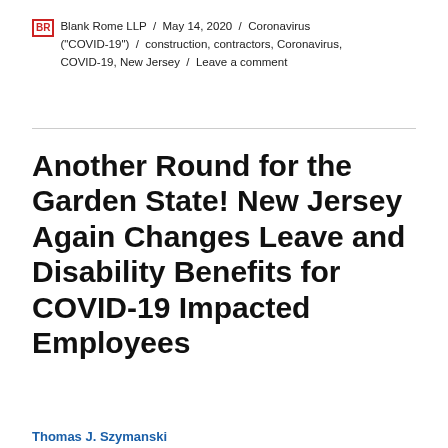BR Blank Rome LLP / May 14, 2020 / Coronavirus ("COVID-19") / construction, contractors, Coronavirus, COVID-19, New Jersey / Leave a comment
Another Round for the Garden State! New Jersey Again Changes Leave and Disability Benefits for COVID-19 Impacted Employees
Thomas J. Szymanski